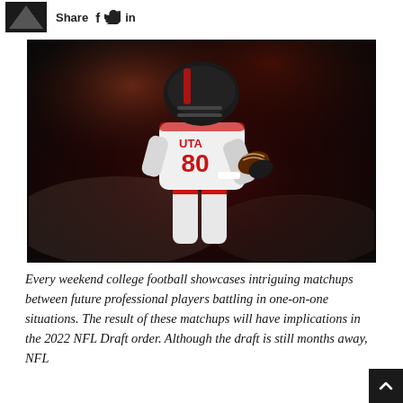Share f [twitter] in
[Figure (photo): A Utah Utes football player (#80) in white uniform running with the ball during a night game]
Every weekend college football showcases intriguing matchups between future professional players battling in one-on-one situations. The result of these matchups will have implications in the 2022 NFL Draft order. Although the draft is still months away, NFL